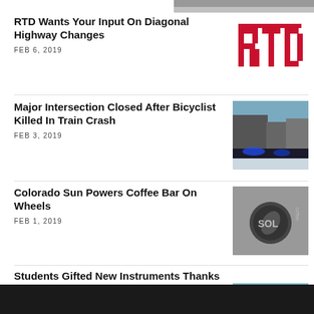[Figure (photo): Top strip partial image, dark/grey]
RTD Wants Your Input On Diagonal Highway Changes
FEB 6, 2019
[Figure (logo): RTD red logo]
Major Intersection Closed After Bicyclist Killed In Train Crash
FEB 3, 2019
[Figure (photo): Street scene at night with blue lights, train crash scene]
Colorado Sun Powers Coffee Bar On Wheels
FEB 1, 2019
[Figure (photo): SOL coffee sign on a wall]
Students Gifted New Instruments Thanks To Donation Partnership
[Figure (photo): Classroom scene with students and instruments]